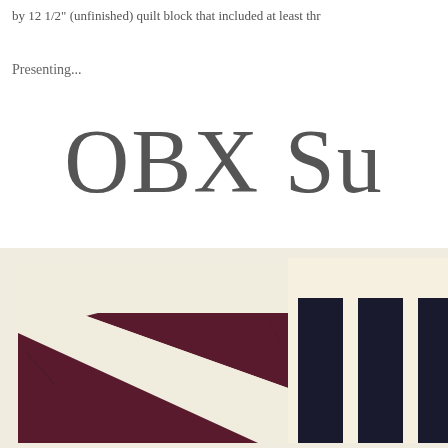by 12 1/2" (unfinished) quilt block that included at least thr
Presenting...
OBX Su
[Figure (photo): A quilt block on a cream/off-white background. The left portion shows large maroon/burgundy triangles arranged in a pinwheel or flying geese pattern on cream fabric. The right portion shows dark navy blue vertical stripes on cream fabric.]